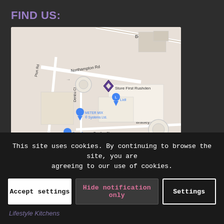FIND US:
[Figure (map): Google Maps screenshot showing Rushden area with markers for Store First Rushden, Lidl, METER MIX Systems Ltd., Screwfix Building materials store, Boy, and Kier. Roads visible: B645, Northampton Rd, Bradley Cl, Denbu Cl. A red pin marks Kier location.]
This site uses cookies. By continuing to browse the site, you are agreeing to our use of cookies.
Accept settings
Hide notification only
Settings
Lifestyle Kitchens